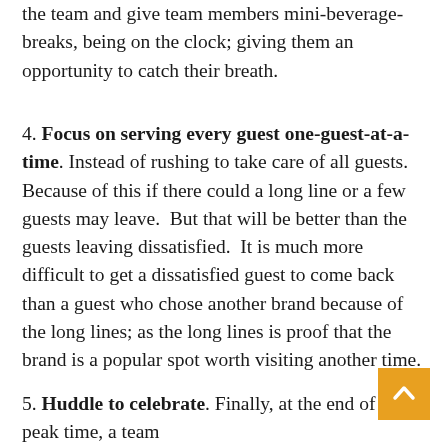the team and give team members mini-beverage-breaks, being on the clock; giving them an opportunity to catch their breath.
4. Focus on serving every guest one-guest-at-a-time. Instead of rushing to take care of all guests. Because of this if there could a long line or a few guests may leave.  But that will be better than the guests leaving dissatisfied.  It is much more difficult to get a dissatisfied guest to come back than a guest who chose another brand because of the long lines; as the long lines is proof that the brand is a popular spot worth visiting another time.
5. Huddle to celebrate. Finally, at the end of the peak time, a team